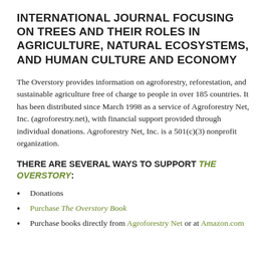INTERNATIONAL JOURNAL FOCUSING ON TREES AND THEIR ROLES IN AGRICULTURE, NATURAL ECOSYSTEMS, AND HUMAN CULTURE AND ECONOMY
The Overstory provides information on agroforestry, reforestation, and sustainable agriculture free of charge to people in over 185 countries. It has been distributed since March 1998 as a service of Agroforestry Net, Inc. (agroforestry.net), with financial support provided through individual donations. Agroforestry Net, Inc. is a 501(c)(3) nonprofit organization.
THERE ARE SEVERAL WAYS TO SUPPORT THE OVERSTORY:
Donations
Purchase The Overstory Book
Purchase books directly from Agroforestry Net or at Amazon.com